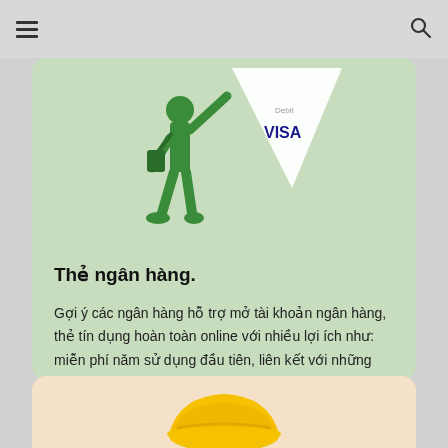☰  🔍
[Figure (illustration): Green figure of a person holding up a Debit VISA card on a light green background]
Thẻ ngân hàng.
Gợi ý các ngân hàng hỗ trợ mở tài khoản ngân hàng, thẻ tín dụng hoàn toàn online với nhiều lợi ích như: miễn phí năm sử dụng đầu tiên, liên kết với những tiện ích khác,…
[Figure (illustration): Yellow hard hat partially visible at the bottom of the page on a peach/salmon background]